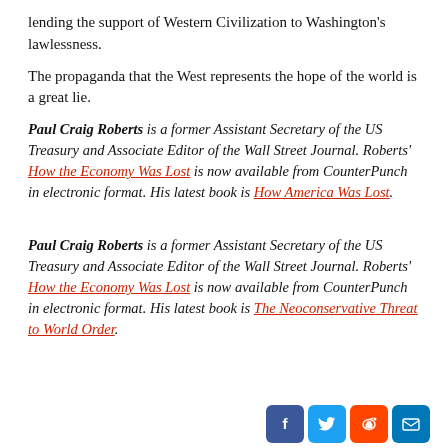lending the support of Western Civilization to Washington's lawlessness.
The propaganda that the West represents the hope of the world is a great lie.
Paul Craig Roberts is a former Assistant Secretary of the US Treasury and Associate Editor of the Wall Street Journal. Roberts' How the Economy Was Lost is now available from CounterPunch in electronic format. His latest book is How America Was Lost.
Paul Craig Roberts is a former Assistant Secretary of the US Treasury and Associate Editor of the Wall Street Journal. Roberts' How the Economy Was Lost is now available from CounterPunch in electronic format. His latest book is The Neoconservative Threat to World Order.